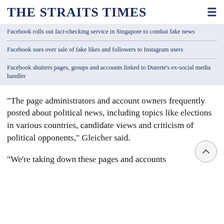THE STRAITS TIMES
Facebook rolls out fact-checking service in Singapore to combat fake news
Facebook sues over sale of fake likes and followers to Instagram users
Facebook shutters pages, groups and accounts linked to Duterte's ex-social media handler
"The page administrators and account owners frequently posted about political news, including topics like elections in various countries, candidate views and criticism of political opponents," Gleicher said.
"We're taking down these pages and accounts because...